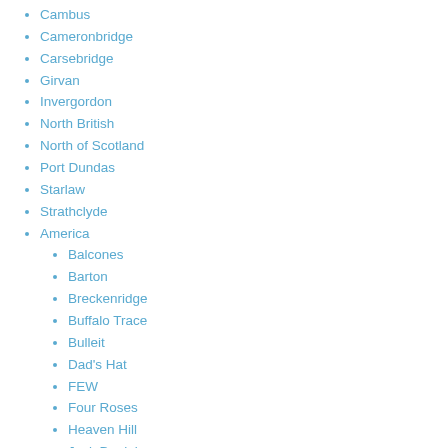Cambus
Cameronbridge
Carsebridge
Girvan
Invergordon
North British
North of Scotland
Port Dundas
Starlaw
Strathclyde
America
Balcones
Barton
Breckenridge
Buffalo Trace
Bulleit
Dad's Hat
FEW
Four Roses
Heaven Hill
Jack Daniel
Jim Beam
Koval
Lux Row
Maker's Mark
Michters
New York